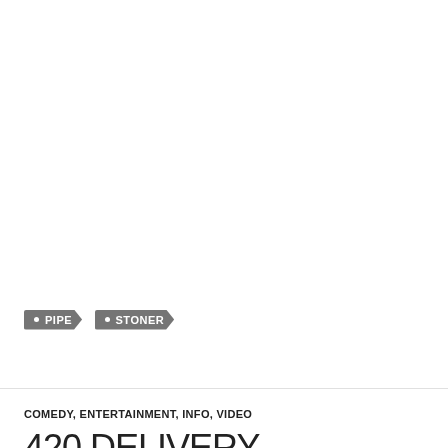PIPE
STONER
COMEDY, ENTERTAINMENT, INFO, VIDEO
420 DELIVERY